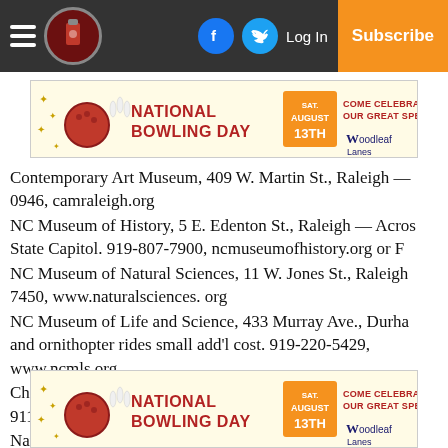Navigation bar with hamburger menu, logo, Facebook, Twitter, Log In, Subscribe
[Figure (illustration): National Bowling Day advertisement banner — Saturday August 13th, Come Celebrate Our Great Specials! Woodleaf Lanes]
Contemporary Art Museum, 409 W. Martin St., Raleigh — 0946, camraleigh.org
NC Museum of History, 5 E. Edenton St., Raleigh — Across State Capitol. 919-807-7900, ncmuseumofhistory.org or F
NC Museum of Natural Sciences, 11 W. Jones St., Raleigh 7450, www.naturalsciences. org
NC Museum of Life and Science, 433 Murray Ave., Durham and ornithopter rides small add'l cost. 919-220-5429, www.ncmls.org
Children's Museum of Winston-Salem, 390 S. Liberty St. — 9111, childrensmuseumofws.org
Natural Science Center of Greensboro, 4301 Lawndale D
[Figure (illustration): National Bowling Day advertisement banner — Saturday August 13th, Come Celebrate Our Great Specials! Woodleaf Lanes]